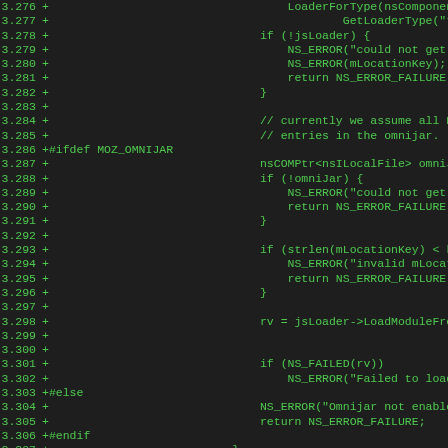[Figure (screenshot): Code diff showing lines 3.276 to 3.308 of a C++ source file with green monospace text on dark background. Lines show JavaScript loader and omnijar handling code with #ifdef MOZ_OMNIJAR preprocessor directives.]